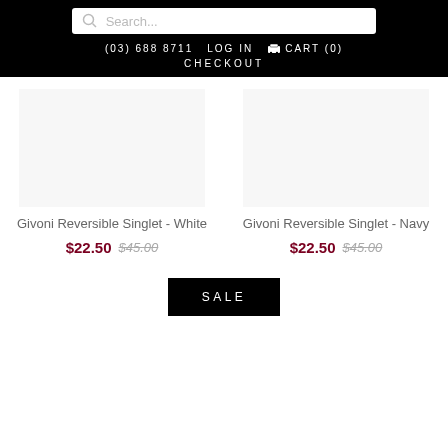(03) 688 8711  LOG IN  CART (0)  CHECKOUT
[Figure (screenshot): Product image placeholder for Givoni Reversible Singlet - White]
Givoni Reversible Singlet - White
$22.50  $45.00
[Figure (screenshot): Product image placeholder for Givoni Reversible Singlet - Navy]
Givoni Reversible Singlet - Navy
$22.50  $45.00
SALE